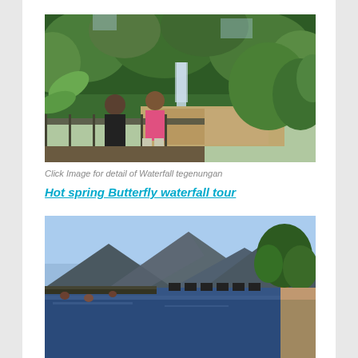[Figure (photo): Two people posing on a bridge/railing with a tropical rainforest and waterfall visible in the background. Dense green trees and a winding road or river below.]
Click Image for detail of Waterfall tegenungan
Hot spring Butterfly waterfall tour
[Figure (photo): A hot spring pool with mountains in the background under a blue sky. People swimming in the pool with rows of lounge chairs and a large tree on the right side.]